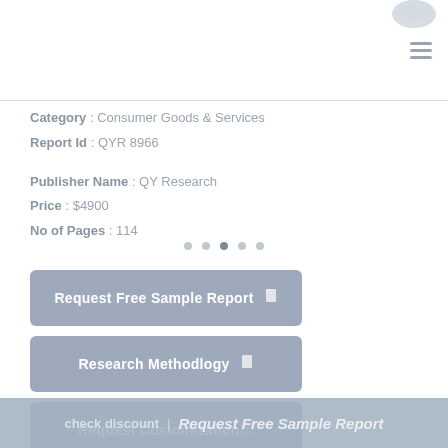[Figure (logo): Circular logo/icon in top right corner, light gray]
Category : Consumer Goods & Services
Report Id : QYR 8966
Publisher Name : QY Research
Price : $4900
No of Pages : 114
Request Free Sample Report
Research Methodlogy
Request Customization
check discount | Request Free Sample Report